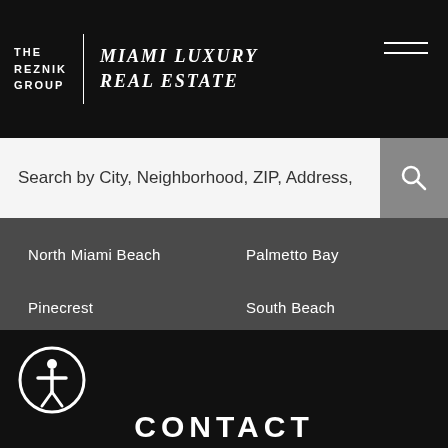THE REZNIK GROUP | MIAMI LUXURY REAL ESTATE
Search by City, Neighborhood, ZIP, Address,
North Miami Beach
Palmetto Bay
Pinecrest
South Beach
South Miami
Sunny Isles Beach
Surfside
Venetian Islands
Upper East Side
West Miami
[Figure (logo): WhatsApp green phone icon button]
[Figure (illustration): Accessibility icon (person in circle)]
CONTACT